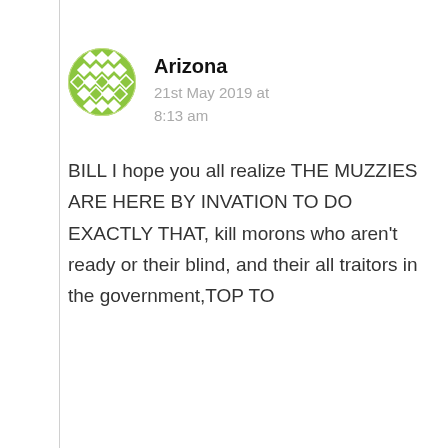[Figure (illustration): Green geometric diamond-pattern circle avatar icon for user 'Arizona']
Arizona
21st May 2019 at 8:13 am
BILL I hope you all realize THE MUZZIES ARE HERE BY INVATION TO DO EXACTLY THAT, kill morons who aren't ready or their blind, and their all traitors in the government,TOP TO